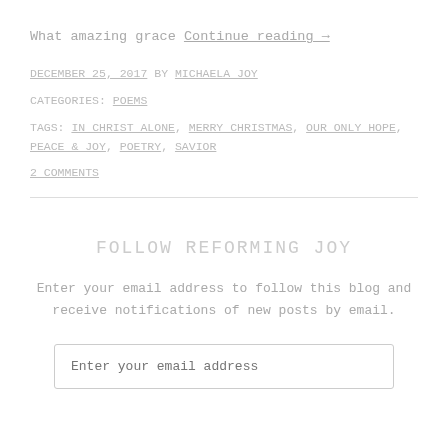What amazing grace Continue reading →
DECEMBER 25, 2017 BY MICHAELA JOY
CATEGORIES: POEMS
TAGS: IN CHRIST ALONE, MERRY CHRISTMAS, OUR ONLY HOPE, PEACE & JOY, POETRY, SAVIOR
2 COMMENTS
FOLLOW REFORMING JOY
Enter your email address to follow this blog and receive notifications of new posts by email.
Enter your email address